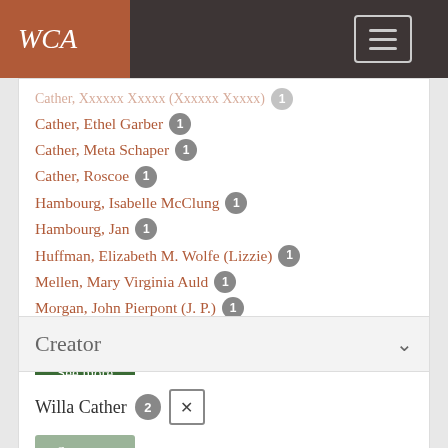WCA
Cather, Ethel Garber 1
Cather, Meta Schaper 1
Cather, Roscoe 1
Hambourg, Isabelle McClung 1
Hambourg, Jan 1
Huffman, Elizabeth M. Wolfe (Lizzie) 1
Mellen, Mary Virginia Auld 1
Morgan, John Pierpont (J. P.) 1
Southwick, Helen Louise Cather 1
See more
Creator
Willa Cather 2 ✕
See more